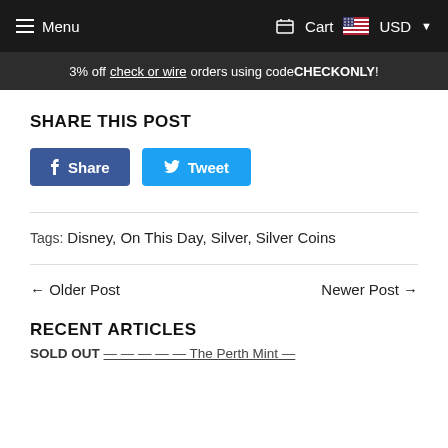Menu  Cart  USD
3% off check or wire orders using code CHECKONLY!
SHARE THIS POST
Share  Tweet
Tags: Disney, On This Day, Silver, Silver Coins
← Older Post    Newer Post →
RECENT ARTICLES
SOLD OUT